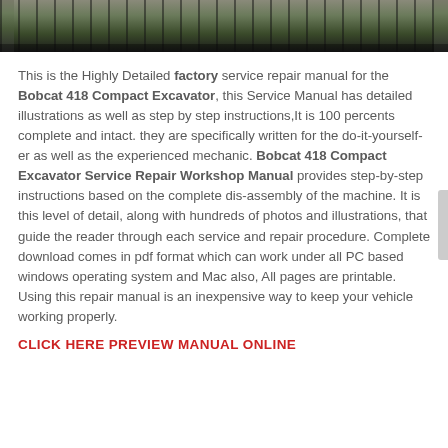[Figure (photo): Photo of Bobcat 418 Compact Excavator machines on grass, shown from front/side angle, dark background]
This is the Highly Detailed factory service repair manual for the Bobcat 418 Compact Excavator, this Service Manual has detailed illustrations as well as step by step instructions,It is 100 percents complete and intact. they are specifically written for the do-it-yourself-er as well as the experienced mechanic. Bobcat 418 Compact Excavator Service Repair Workshop Manual provides step-by-step instructions based on the complete dis-assembly of the machine. It is this level of detail, along with hundreds of photos and illustrations, that guide the reader through each service and repair procedure. Complete download comes in pdf format which can work under all PC based windows operating system and Mac also, All pages are printable. Using this repair manual is an inexpensive way to keep your vehicle working properly.
CLICK HERE PREVIEW MANUAL ONLINE